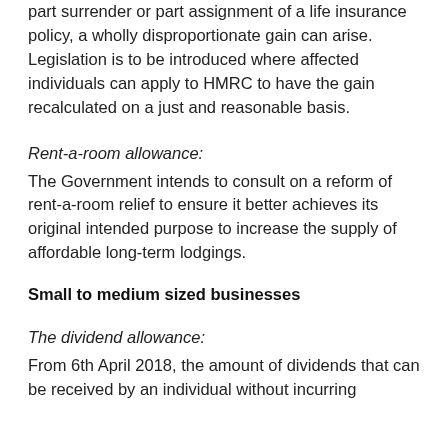part surrender or part assignment of a life insurance policy, a wholly disproportionate gain can arise.  Legislation is to be introduced where affected individuals can apply to HMRC to have the gain recalculated on a just and reasonable basis.
Rent-a-room allowance:
The Government intends to consult on a reform of rent-a-room relief to ensure it better achieves its original intended purpose to increase the supply of affordable long-term lodgings.
Small to medium sized businesses
The dividend allowance:
From 6th April 2018, the amount of dividends that can be received by an individual without incurring